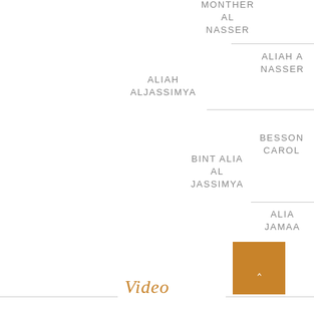MONTHER AL NASSER
ALIAH A NASSER
ALIAH ALJASSIMYA
BESSON CAROL
BINT ALIA AL JASSIMYA
ALIA JAMAA
Video
[Figure (other): Orange square button with upward arrow]